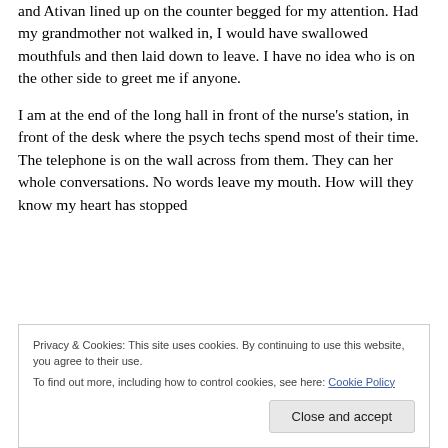and Ativan lined up on the counter begged for my attention. Had my grandmother not walked in, I would have swallowed mouthfuls and then laid down to leave. I have no idea who is on the other side to greet me if anyone.
I am at the end of the long hall in front of the nurse's station, in front of the desk where the psych techs spend most of their time. The telephone is on the wall across from them. They can her whole conversations. No words leave my mouth. How will they know my heart has stopped
Privacy & Cookies: This site uses cookies. By continuing to use this website, you agree to their use.
To find out more, including how to control cookies, see here: Cookie Policy